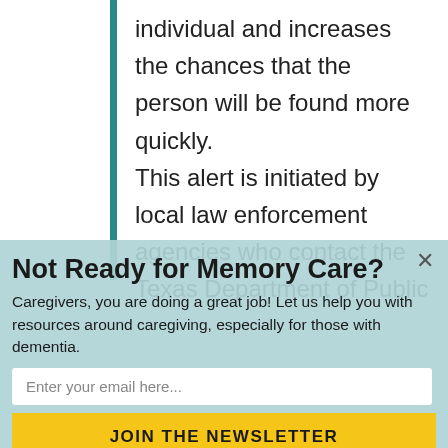individual and increases the chances that the person will be found more quickly. This alert is initiated by local law enforcement agencies who contact the Texas Department of Public
Not Ready for Memory Care?
Caregivers, you are doing a great job! Let us help you with resources around caregiving, especially for those with dementia.
Enter your email here...
JOIN THE NEWSLETTER